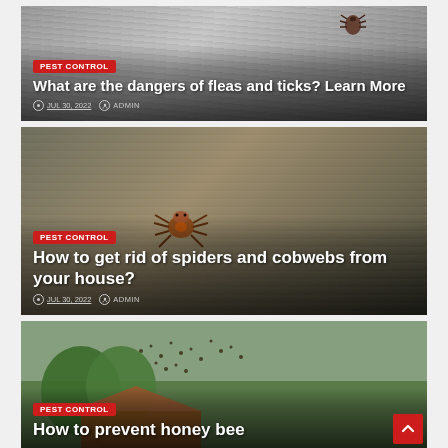[Figure (photo): Article card showing close-up of a tick on fur background with overlay text about fleas and ticks]
[Figure (photo): Article card showing a spider on wood background with overlay text about getting rid of spiders and cobwebs]
[Figure (photo): Article card showing bees on a building with overlay text about preventing honey bees (partially cropped)]